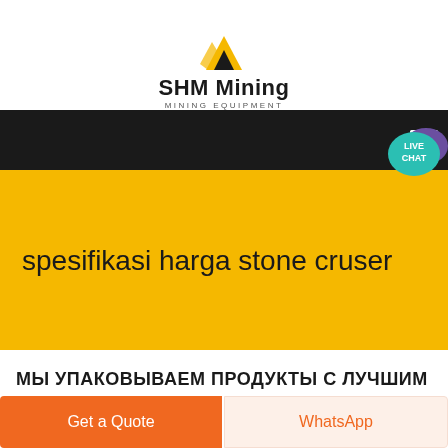[Figure (logo): SHM Mining logo with yellow and black icon above bold text 'SHM Mining' and subtitle 'MINING EQUIPMENT']
[Figure (screenshot): Black navigation bar with hamburger menu icon and a teal 'LIVE CHAT' speech bubble badge with purple chat icon in upper right]
spesifikasi harga stone cruser
Мы упаковываем продукты с лучшим
Get a Quote
WhatsApp